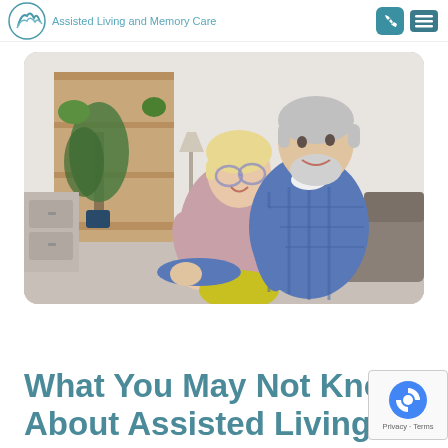Assisted Living and Memory Care
[Figure (photo): An elderly couple smiling and embracing indoors. The woman wears glasses and a mauve top, the man wears a blue plaid shirt. Background shows shelves with plants and home decor.]
What You May Not Know About Assisted Living